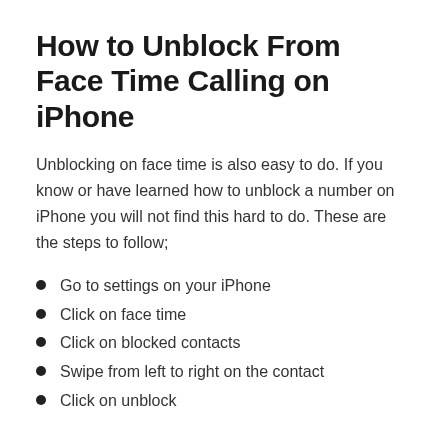How to Unblock From Face Time Calling on iPhone
Unblocking on face time is also easy to do. If you know or have learned how to unblock a number on iPhone you will not find this hard to do. These are the steps to follow;
Go to settings on your iPhone
Click on face time
Click on blocked contacts
Swipe from left to right on the contact
Click on unblock